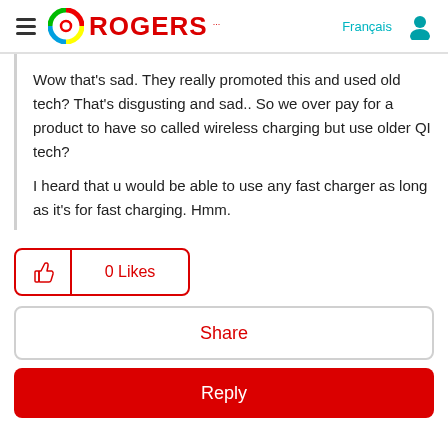Rogers
Wow that's sad. They really promoted this and used old tech? That's disgusting and sad.. So we over pay for a product to have so called wireless charging but use older QI tech?

I heard that u would be able to use any fast charger as long as it's for fast charging. Hmm.
[Figure (other): 0 Likes button with thumbs up icon, red outline]
[Figure (other): Share button, red text, light border]
[Figure (other): Reply button, red background, white text]